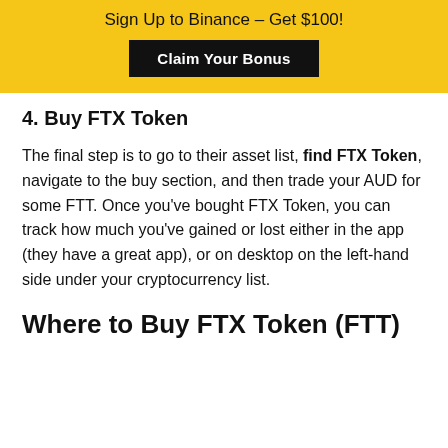Sign Up to Binance – Get $100! Claim Your Bonus
4. Buy FTX Token
The final step is to go to their asset list, find FTX Token, navigate to the buy section, and then trade your AUD for some FTT. Once you've bought FTX Token, you can track how much you've gained or lost either in the app (they have a great app), or on desktop on the left-hand side under your cryptocurrency list.
Where to Buy FTX Token (FTT)